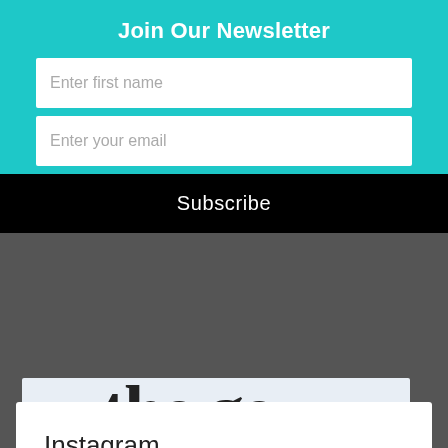Join Our Newsletter
Enter first name
Enter your email
Subscribe
[Figure (screenshot): WordPress app advertisement with 'GET THE APP' text and WordPress logo icon on a light blue-grey background, with partial large text visible at top]
REPORT THIS AD
Instagram
Newsletter